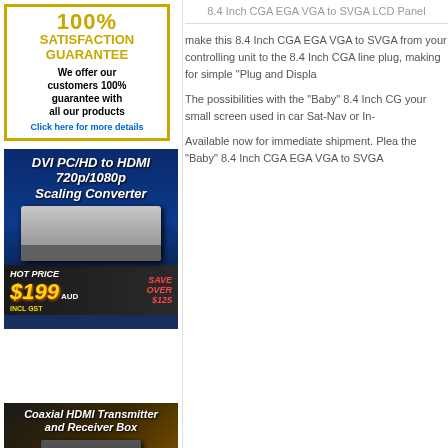[Figure (illustration): 100% Satisfaction Guarantee box with gold border, text in gold and black, blue link text 'Click here for more details']
[Figure (photo): DVI PC/HD to HDMI 720p/1080p Scaling Converter ad. Blue background, converter device photo, HOT PRICE $199 AUD INCL GST, SAVE OVER $125]
[Figure (photo): Coaxial HDMI Transmitter and Receiver Box ad with orange-brown background and device image]
8.4 Inch CGA EGA VGA to SVGA LCD Panel
make this 8.4 Inch CGA EGA VGA to SVGA from your controlling unit to the 8.4 Inch CGA line plug, making for simple "Plug and Displa
The possibilities with the "Baby" 8.4 Inch CG your small screen used in car Sat-Nav or In-
Available now for immediate shipment. Plea the "Baby" 8.4 Inch CGA EGA VGA to SVGA